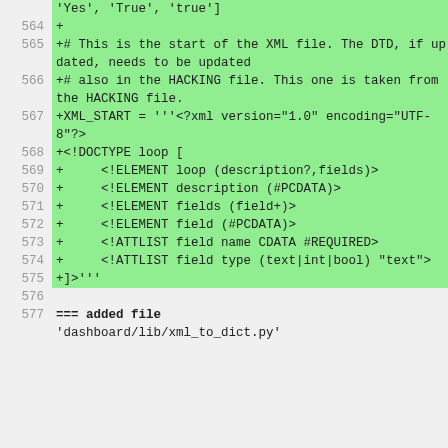'Yes', 'True', 'true']
564 +
565 +# This is the start of the XML file. The DTD, if updated, needs to be updated
566 +# also in the HACKING file. This one is taken from the HACKING file.
567 +XML_START = '''<?xml version="1.0" encoding="UTF-8"?>
568 +<!DOCTYPE loop [
569 +     <!ELEMENT loop (description?,fields)>
570 +     <!ELEMENT description (#PCDATA)>
571 +     <!ELEMENT fields (field+)>
572 +     <!ELEMENT field (#PCDATA)>
573 +     <!ATTLIST field name CDATA #REQUIRED>
574 +     <!ATTLIST field type (text|int|bool) "text">
575 +]>'''
576
577 === added file
'dashboard/lib/xml_to_dict.py'